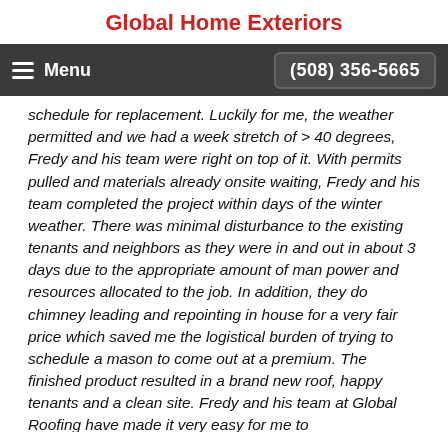Global Home Exteriors
Menu   (508) 356-5665
schedule for replacement. Luckily for me, the weather permitted and we had a week stretch of > 40 degrees, Fredy and his team were right on top of it. With permits pulled and materials already onsite waiting, Fredy and his team completed the project within days of the winter weather. There was minimal disturbance to the existing tenants and neighbors as they were in and out in about 3 days due to the appropriate amount of man power and resources allocated to the job. In addition, they do chimney leading and repointing in house for a very fair price which saved me the logistical burden of trying to schedule a mason to come out at a premium. The finished product resulted in a brand new roof, happy tenants and a clean site. Fredy and his team at Global Roofing have made it very easy for me to